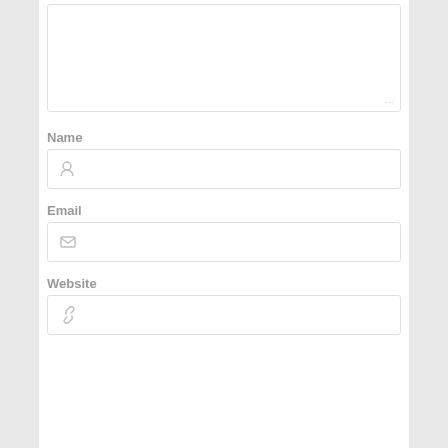[Figure (screenshot): A comment form section showing a textarea at the top (empty, with resize handle), followed by three labeled input fields: Name (with person icon), Email (with envelope icon), and Website (with link icon). All form elements have light gray borders on white background.]
Name
Email
Website